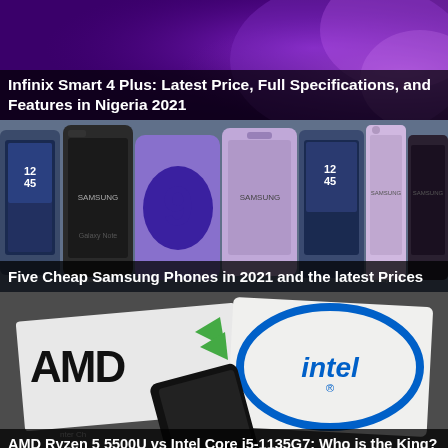[Figure (photo): Article thumbnail with purple/violet gradient background for Infinix Smart 4 Plus article]
Infinix Smart 4 Plus: Latest Price, Full Specifications, and Features in Nigeria 2021
[Figure (photo): Multiple Samsung phones displayed in a row showing Galaxy Note and Galaxy S series in blue and purple colors]
Five Cheap Samsung Phones in 2021 and the latest Prices
[Figure (photo): AMD and Intel logos on paper/card surfaces, showing AMD text with green arrow logo and Intel oval logo]
AMD Ryzen 5 5500U vs Intel Core i5-1135G7: Who is the King?
[Figure (photo): Smartphone devices on left side (blue/teal/dark), yellow geometric shape on right side]